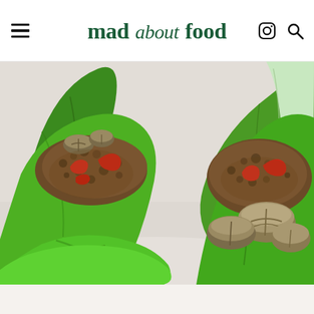mad about food — navigation header with menu icon, Instagram icon, and search icon
[Figure (photo): Close-up photo of turkey or chicken lettuce wraps served on butter lettuce leaves on a white plate. The filling includes ground meat, sliced mushrooms, diced red bell peppers, and savory sauce. Two lettuce wraps are visible, one on the left and one on the right, garnished with sautéed mushrooms and red peppers on top of the seasoned ground meat mixture.]